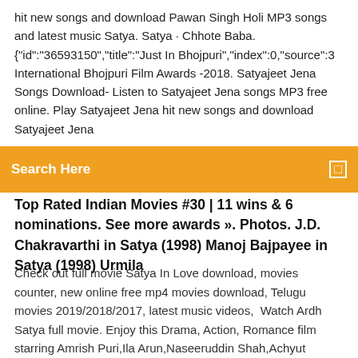hit new songs and download Pawan Singh Holi MP3 songs and latest music Satya. Satya · Chhote Baba. {"id":"36593150","title":"Just In Bhojpuri","index":0,"source":3 International Bhojpuri Film Awards -2018. Satyajeet Jena Songs Download- Listen to Satyajeet Jena songs MP3 free online. Play Satyajeet Jena hit new songs and download Satyajeet Jena
[Figure (screenshot): Orange search bar with text 'Search Here' and a small square icon on the right]
Top Rated Indian Movies #30 | 11 wins & 6 nominations. See more awards ». Photos. J.D. Chakravarthi in Satya (1998) Manoj Bajpayee in Satya (1998) Urmila
Check out full movie Satya In Love download, movies counter, new online free mp4 movies download, Telugu movies 2019/2018/2017, latest music videos,  Watch Ardh Satya full movie. Enjoy this Drama, Action, Romance film starring Amrish Puri,Ila Arun,Naseeruddin Shah,Achyut Potdar,Sadashiv Amrapurkar,Shafi  Satya 2 (2013) Bollywood Movie 3gp, Mobile Mp4, Pc Mp4, Avi, Mkv Video Download, Satya 2 (2013) New